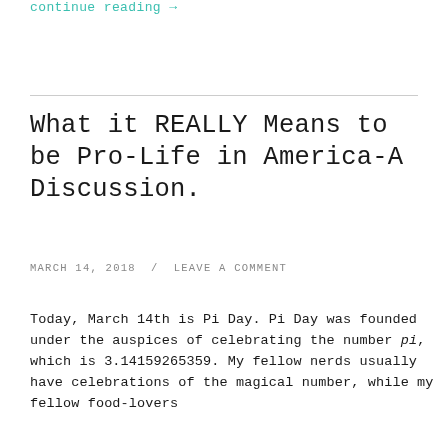continue reading →
What it REALLY Means to be Pro-Life in America-A Discussion.
MARCH 14, 2018 / LEAVE A COMMENT
Today, March 14th is Pi Day. Pi Day was founded under the auspices of celebrating the number pi, which is 3.14159265359. My fellow nerds usually have celebrations of the magical number, while my fellow food-lovers